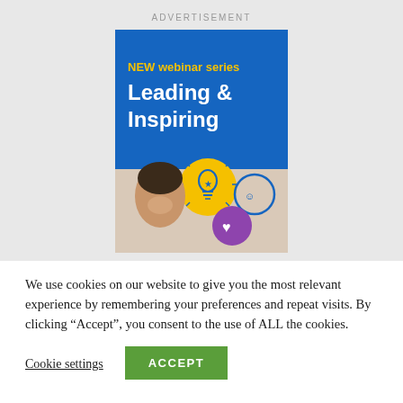ADVERTISEMENT
[Figure (illustration): Advertisement banner for a NEW webinar series titled 'Leading & Inspiring'. Blue background with yellow text 'NEW webinar series' and white bold text 'Leading & Inspiring'. Bottom half shows a smiling woman and icons: a yellow lightbulb circle, a blue gear smiley, and a purple heart circle.]
We use cookies on our website to give you the most relevant experience by remembering your preferences and repeat visits. By clicking “Accept”, you consent to the use of ALL the cookies.
Cookie settings
ACCEPT